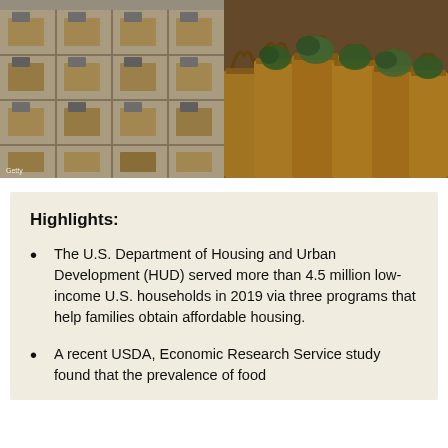[Figure (photo): Left: Apartment building facade with air conditioning units on windows. Right: Grocery bags filled with produce at what appears to be a food bank or market.]
Highlights:
The U.S. Department of Housing and Urban Development (HUD) served more than 4.5 million low-income U.S. households in 2019 via three programs that help families obtain affordable housing.
A recent USDA, Economic Research Service study found that the prevalence of food